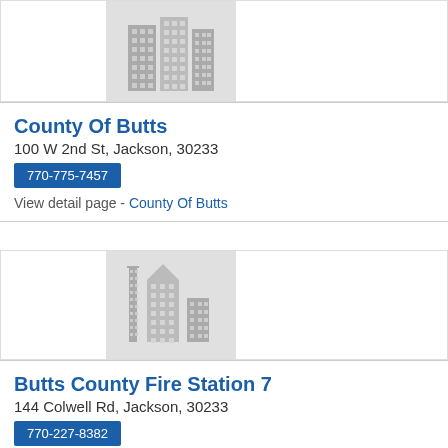[Figure (illustration): Grey placeholder image showing stylized city buildings silhouette for County Of Butts listing]
County Of Butts
100 W 2nd St, Jackson, 30233
770-775-7457
View detail page - County Of Butts
[Figure (illustration): Grey placeholder image showing stylized city buildings silhouette for Butts County Fire Station 7 listing]
Butts County Fire Station 7
144 Colwell Rd, Jackson, 30233
770-227-8382